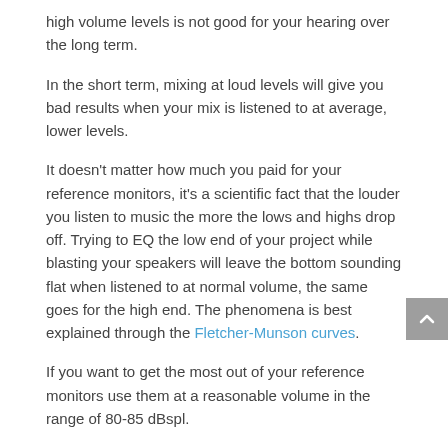high volume levels is not good for your hearing over the long term.
In the short term, mixing at loud levels will give you bad results when your mix is listened to at average, lower levels.
It doesn't matter how much you paid for your reference monitors, it's a scientific fact that the louder you listen to music the more the lows and highs drop off. Trying to EQ the low end of your project while blasting your speakers will leave the bottom sounding flat when listened to at normal volume, the same goes for the high end. The phenomena is best explained through the Fletcher-Munson curves.
If you want to get the most out of your reference monitors use them at a reasonable volume in the range of 80-85 dBspl.
Conclusion